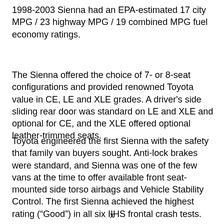1998-2003 Sienna had an EPA-estimated 17 city MPG / 23 highway MPG / 19 combined MPG fuel economy ratings.
The Sienna offered the choice of 7- or 8-seat configurations and provided renowned Toyota value in CE, LE and XLE grades. A driver's side sliding rear door was standard on LE and XLE and optional for CE, and the XLE offered optional leather-trimmed seats.
Toyota engineered the first Sienna with the safety that family van buyers sought. Anti-lock brakes were standard, and Sienna was one of the few vans at the time to offer available front seat-mounted side torso airbags and Vehicle Stability Control. The first Sienna achieved the highest rating (“Good”) in all six IIHS frontal crash tests.
x